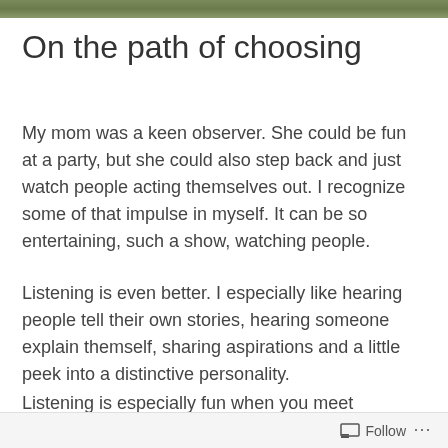[Figure (photo): A narrow decorative photo strip at the top of the page showing an outdoor/nature scene with green tones.]
On the path of choosing
My mom was a keen observer. She could be fun at a party, but she could also step back and just watch people acting themselves out. I recognize some of that impulse in myself. It can be so entertaining, such a show, watching people.
Listening is even better. I especially like hearing people tell their own stories, hearing someone explain themself, sharing aspirations and a little peek into a distinctive personality.
Listening is especially fun when you meet someone like
Follow ...